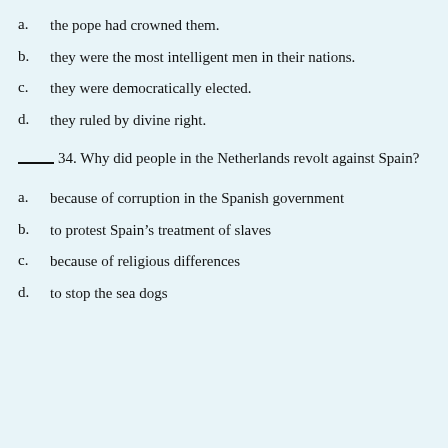a.   the pope had crowned them.
b.   they were the most intelligent men in their nations.
c.   they were democratically elected.
d.   they ruled by divine right.
____ 34. Why did people in the Netherlands revolt against Spain?
a.   because of corruption in the Spanish government
b.   to protest Spain's treatment of slaves
c.   because of religious differences
d.   to stop the sea dogs